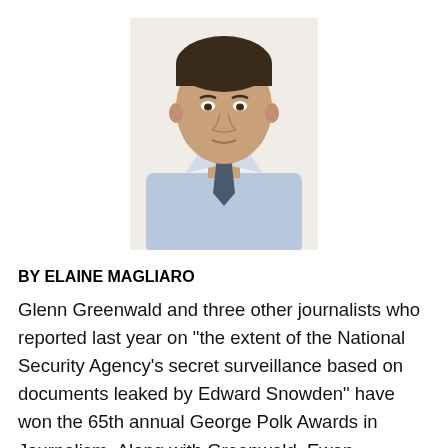[Figure (photo): Headshot photo of Glenn Greenwald, a man in a light blue shirt and dark tie, with short dark hair, facing forward against a white background.]
BY ELAINE MAGLIARO
Glenn Greenwald and three other journalists who reported last year on “the extent of the National Security Agency’s secret surveillance based on documents leaked by Edward Snowden” have won the 65th annual George Polk Awards in Journalism. Along with Greenwald, Ewen MacAskill and Laura Poitras of The Guardian and Barton Gellman of The Washington Post will receive the award for national security reporting for the stories they wrote